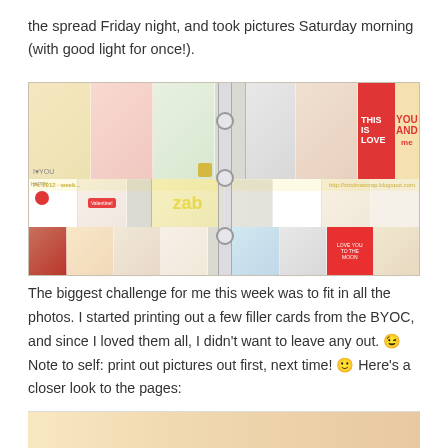the spread Friday night, and took pictures Saturday morning (with good light for once!).
[Figure (photo): Open scrapbook album spread showing two pages filled with Project Life cards, photos, journaling cards, and decorative elements in Valentine's Day theme with pinks, reds, and yellows. Watermark reads 'PL 2012 - week...' and 'http://cristinascrap.blogspot.com']
The biggest challenge for me this week was to fit in all the photos. I started printing out a few filler cards from the BYOC, and since I loved them all, I didn't want to leave any out. 😉 Note to self: print out pictures out first, next time! 🙂 Here's a closer look to the pages:
[Figure (photo): Partial view of scrapbook pages at bottom of screen, cropped]